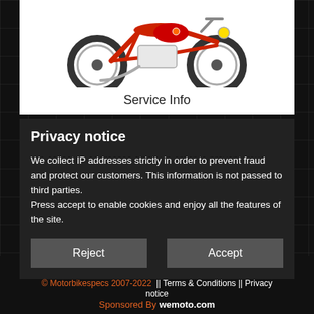[Figure (photo): Photo of a small red and white vintage mini motorbike/motorcycle on white background]
Service Info
Privacy notice
We collect IP addresses strictly in order to prevent fraud and protect our customers. This information is not passed to third parties.
Press accept to enable cookies and enjoy all the features of the site.
Reject
Accept
Have you any ideas or suggestions for Motorbikespecs?
Spotted any errors or problems? Please let us know
© Motorbikespecs 2007-2022 || Terms & Conditions || Privacy notice
Sponsored By wemoto.com